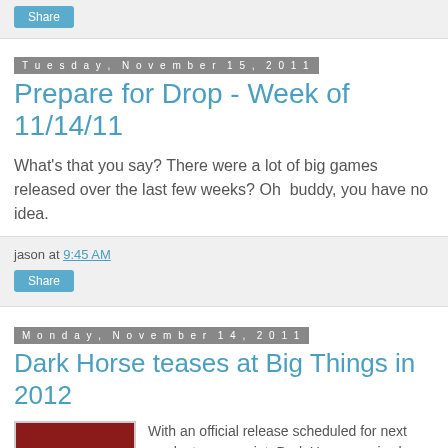[Figure (other): Share button at top of page in blue]
Tuesday, November 15, 2011
Prepare for Drop - Week of 11/14/11
What's that you say? There were a lot of big games released over the last few weeks? Oh  buddy, you have no idea.
jason at 9:45 AM
[Figure (other): Share button in blue]
Monday, November 14, 2011
Dark Horse teases at Big Things in 2012
[Figure (illustration): Red and black promotional image with text IT'S ALL GOING TO HELL IN 2012]
With an official release scheduled for next week at some point, Dark Horse comics has put forth a pretty big tease